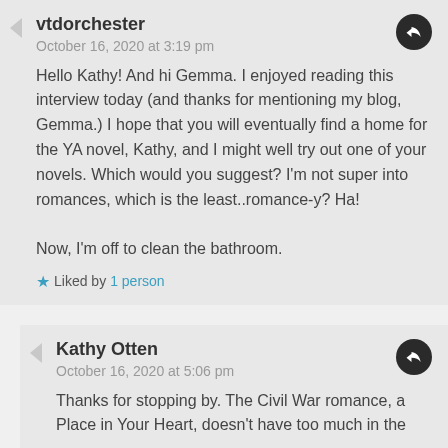vtdorchester
October 16, 2020 at 3:19 pm
Hello Kathy! And hi Gemma. I enjoyed reading this interview today (and thanks for mentioning my blog, Gemma.) I hope that you will eventually find a home for the YA novel, Kathy, and I might well try out one of your novels. Which would you suggest? I'm not super into romances, which is the least..romance-y? Ha!

Now, I'm off to clean the bathroom.
Liked by 1 person
Kathy Otten
October 16, 2020 at 5:06 pm
Thanks for stopping by. The Civil War romance, a Place in Your Heart, doesn't have too much in the